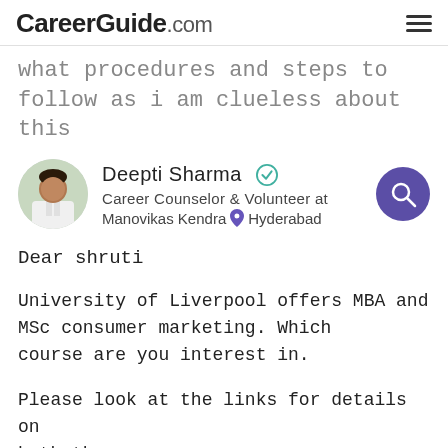CareerGuide.com
what procedures and steps to follow as i am clueless about this
[Figure (photo): Profile photo of Deepti Sharma, a career counselor, shown in a white coat]
Deepti Sharma ✓
Career Counselor & Volunteer at Manovikas Kendra 📍 Hyderabad
Dear shruti
University of Liverpool offers MBA and MSc consumer marketing. Which course are you interest in.
Please look at the links for details on both the courses: